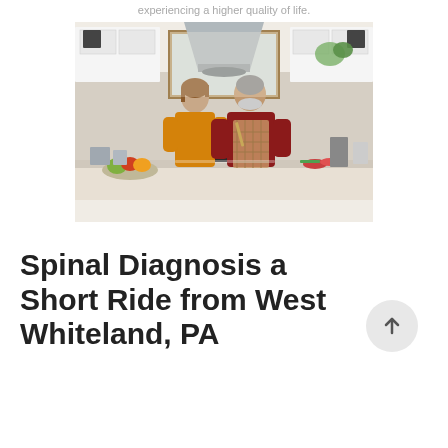experiencing a higher quality of life.
[Figure (photo): An older couple cooking together in a modern kitchen. A woman in a yellow sweater and a man in a red sweater and plaid apron are working at a kitchen island with a stove. A large stainless steel range hood hangs overhead. The kitchen has white cabinetry and a window in the background. Fresh produce is visible on the counter.]
Spinal Diagnosis a Short Ride from West Whiteland, PA